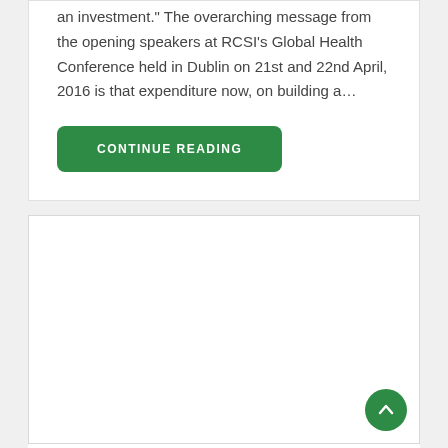"Expenditure on an effective health workforce is not a cost but an investment." The overarching message from the opening speakers at RCSI's Global Health Conference held in Dublin on 21st and 22nd April, 2016 is that expenditure now, on building a...
[Figure (other): Continue Reading button — green rounded rectangle with white uppercase text]
[Figure (photo): Large white image card placeholder, possibly an article image. A green circular scroll-to-top button is in the bottom-right corner.]
As the chairs of whatever they said ...